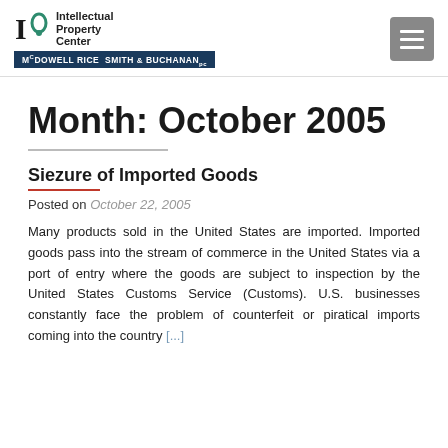Intellectual Property Center at McDowell Rice Smith & Buchanan
Month: October 2005
Siezure of Imported Goods
Posted on October 22, 2005
Many products sold in the United States are imported. Imported goods pass into the stream of commerce in the United States via a port of entry where the goods are subject to inspection by the United States Customs Service (Customs). U.S. businesses constantly face the problem of counterfeit or piratical imports coming into the country [...]